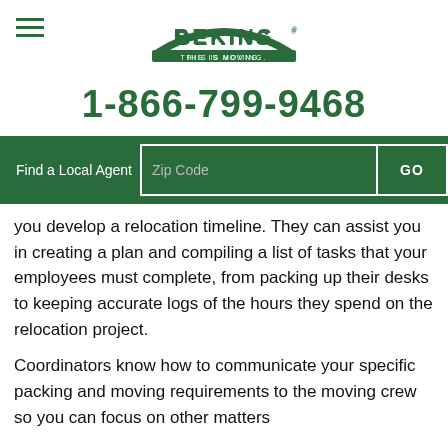BEKINS — THIS IS MOVING.
1-866-799-9468
Find a Local Agent  Zip Code  GO
you develop a relocation timeline. They can assist you in creating a plan and compiling a list of tasks that your employees must complete, from packing up their desks to keeping accurate logs of the hours they spend on the relocation project.
Coordinators know how to communicate your specific packing and moving requirements to the moving crew so you can focus on other matters